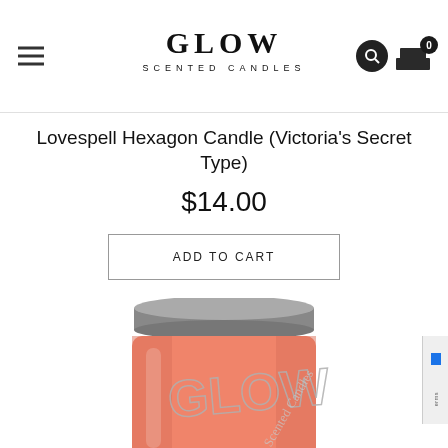GLOW SCENTED CANDLES
Lovespell Hexagon Candle (Victoria's Secret Type)
$14.00
ADD TO CART
[Figure (photo): A salmon/coral-colored hexagonal glass candle jar with a silver metallic lid. The jar has 'GLOW' embossed in silver lettering on the front.]